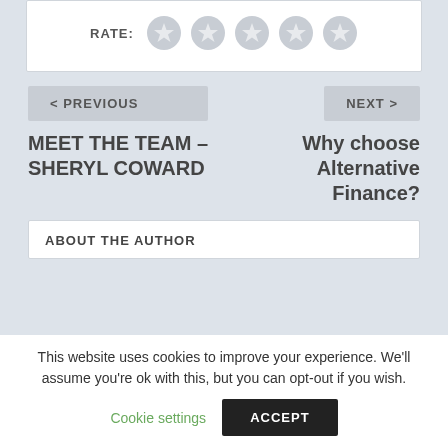[Figure (other): Star rating widget with 5 grey star icons and a 'RATE:' label]
< PREVIOUS
MEET THE TEAM – SHERYL COWARD
NEXT >
Why choose Alternative Finance?
ABOUT THE AUTHOR
This website uses cookies to improve your experience. We'll assume you're ok with this, but you can opt-out if you wish.
Cookie settings
ACCEPT